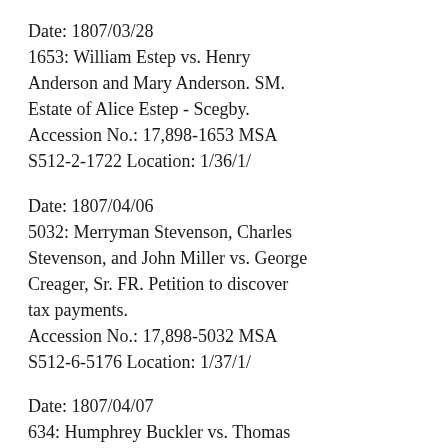Date: 1807/03/28
1653: William Estep vs. Henry Anderson and Mary Anderson. SM. Estate of Alice Estep - Scegby.
Accession No.: 17,898-1653 MSA S512-2-1722 Location: 1/36/1/
Date: 1807/04/06
5032: Merryman Stevenson, Charles Stevenson, and John Miller vs. George Creager, Sr. FR. Petition to discover tax payments.
Accession No.: 17,898-5032 MSA S512-6-5176 Location: 1/37/1/
Date: 1807/04/07
634: Humphrey Buckler vs. Thomas McElderry and Nathaniel Andrews. BA. Dissolution of Nathaniel Andrews & Co.
Accession No.: 17,898-634-1/3 MSA S512-1-663 Location: 1/35/5/
Date: 1807/04/08
5524: James Willson vs. Thomas Bayly